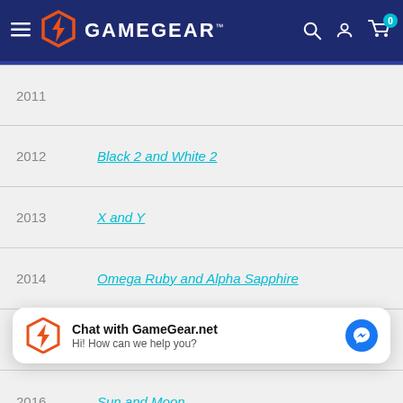GAMEGEAR™
2011
2012 — Black 2 and White 2
2013 — X and Y
2014 — Omega Ruby and Alpha Sapphire
2015
2016 — Sun and Moon
Chat with GameGear.net — Hi! How can we help you?